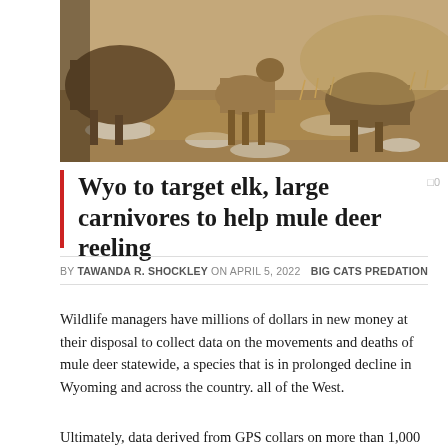[Figure (photo): Deer/elk in a snowy, grassy outdoor landscape, trail camera style photo]
Wyo to target elk, large carnivores to help mule deer reeling
BY TAWANDA R. SHOCKLEY ON APRIL 5, 2022    BIG CATS PREDATION
Wildlife managers have millions of dollars in new money at their disposal to collect data on the movements and deaths of mule deer statewide, a species that is in prolonged decline in Wyoming and across the country. all of the West.
Ultimately, data derived from GPS collars on more than 1,000